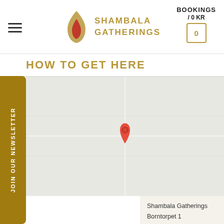Shambala Gatherings — BOOKINGS / 0 KR
HOW TO GET HERE
[Figure (map): Google Maps-style map showing a location pin for Shambala Gatherings at Borntorpet 1, Skinnskatteberg]
JOIN OUR NEWSLETTER
Shambala Gatherings
Borntorpet 1
Skinnskatteberg